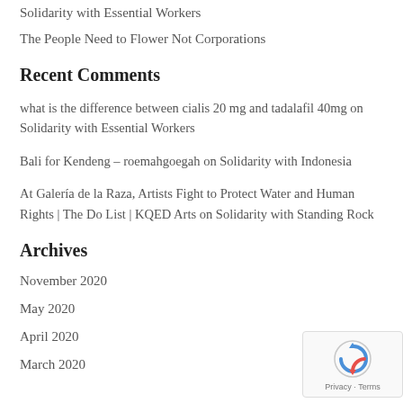Solidarity with Essential Workers
The People Need to Flower Not Corporations
Recent Comments
what is the difference between cialis 20 mg and tadalafil 40mg on Solidarity with Essential Workers
Bali for Kendeng – roemahgoegah on Solidarity with Indonesia
At Galería de la Raza, Artists Fight to Protect Water and Human Rights | The Do List | KQED Arts on Solidarity with Standing Rock
Archives
November 2020
May 2020
April 2020
March 2020